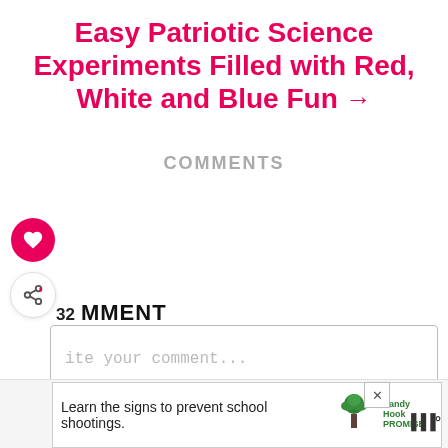Easy Patriotic Science Experiments Filled with Red, White and Blue Fun →
COMMENTS
32  MMENT
ite your comment...
[Figure (screenshot): WHAT'S NEXT → Sassy Tinkerbell... with thumbnail image of green decorated cake]
[Figure (screenshot): Advertisement banner: Learn the signs to prevent school shootings. Sandy Hook PROMISE logo with tree icon. Close button X and ad indicator dots.]